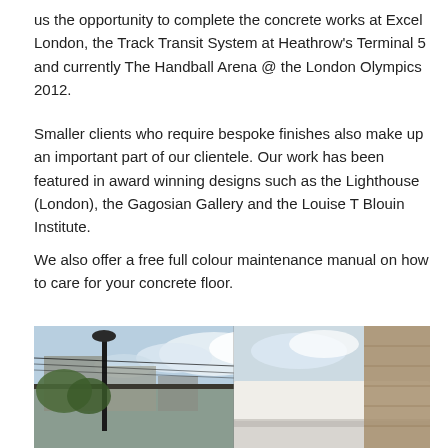us the opportunity to complete the concrete works at Excel London, the Track Transit System at Heathrow's Terminal 5 and currently The Handball Arena @ the London Olympics 2012.
Smaller clients who require bespoke finishes also make up an important part of our clientele. Our work has been featured in award winning designs such as the Lighthouse (London), the Gagosian Gallery and the Louise T Blouin Institute.
We also offer a free full colour maintenance manual on how to care for your concrete floor.
The structure of our concrete floors is backed up by our solid 50 year history.
[Figure (photo): Exterior architectural photo showing a building roofline with overhead cables and a street lamp on the left side, and a modern white concrete structure on the right side against a partly cloudy sky.]